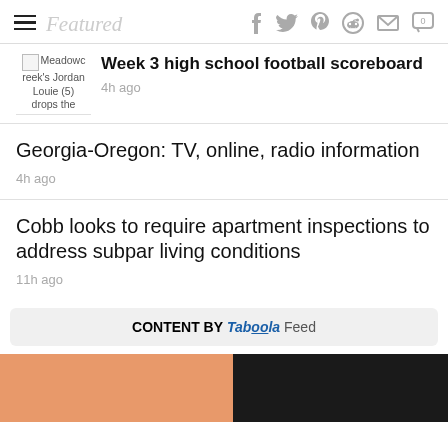Featured — navigation bar with hamburger, social icons (f, twitter, pinterest, reddit, mail, comment)
[Figure (photo): Thumbnail of Meadowcreek's Jordan Louie (5) dropping the ball, partially visible image with broken image icon]
Week 3 high school football scoreboard
4h ago
Georgia-Oregon: TV, online, radio information
4h ago
Cobb looks to require apartment inspections to address subpar living conditions
11h ago
CONTENT BY Taboola Feed
[Figure (photo): Bottom partial photo showing skin tones and dark background]